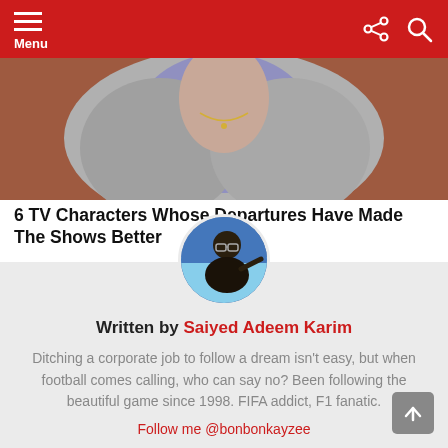Menu
[Figure (photo): Hero image of a woman in a grey cardigan and purple top, brown background]
6 TV Characters Whose Departures Have Made The Shows Better
[Figure (photo): Circular profile photo of Saiyed Adeem Karim, a man with glasses outdoors]
Written by Saiyed Adeem Karim
Ditching a corporate job to follow a dream isn't easy, but when football comes calling, who can say no? Been following the beautiful game since 1998. FIFA addict, F1 fanatic.
Follow me @bonbonkayzee